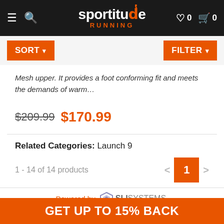sportitude RUNNING — Menu, Search, Wishlist 0, Cart 0
SORT ▼   FILTER ▼
Mesh upper. It provides a foot conforming fit and meets the demands of warm…
$209.99  $170.99
Related Categories: Launch 9
1 - 14 of 14 products   < 1 >
Powered by SLI SYSTEMS.
GET UP TO 15% BACK